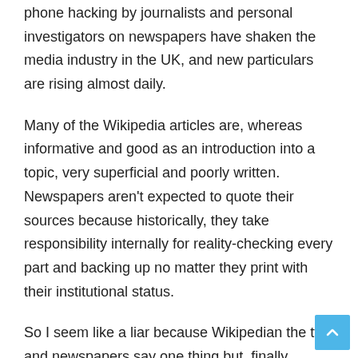phone hacking by journalists and personal investigators on newspapers have shaken the media industry in the UK, and new particulars are rising almost daily.
Many of the Wikipedia articles are, whereas informative and good as an introduction into a topic, very superficial and poorly written. Newspapers aren't expected to quote their sources because historically, they take responsibility internally for reality-checking every part and backing up no matter they print with their institutional status.
So I seem like a liar because Wikipedian the tv and newspapers say one thing but, finally, nobody in France know concerning the Fats Gourg besides a couple of tenth of individuals on a discussion board. The article was then added as a supply on Wikipedia.